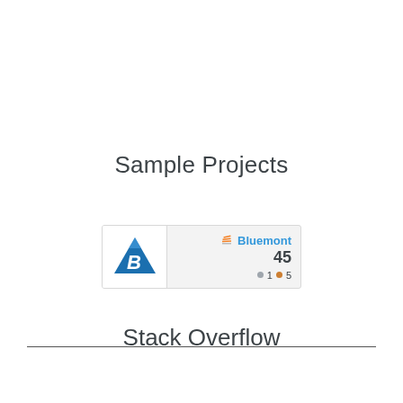Sample Projects
[Figure (logo): Stack Overflow user card widget showing Bluemont user with 45 reputation, 1 silver badge, 5 bronze badges, with a blue mountain logo on the left]
Stack Overflow